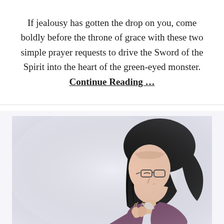If jealousy has gotten the drop on you, come boldly before the throne of grace with these two simple prayer requests to drive the Sword of the Spirit into the heart of the green-eyed monster. Continue Reading …
[Figure (photo): A young Asian woman with glasses and dark hair, bowing her head with hands clasped in prayer, photographed against a light background.]